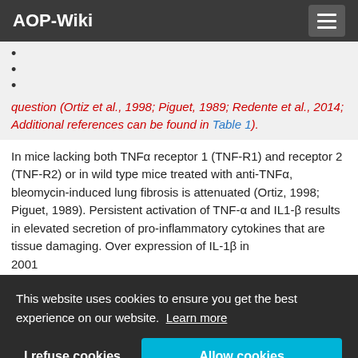AOP-Wiki
•
•
•
question (Ortiz et al., 1998; Piguet, 1989; Redente et al., 2014; Additional references can be found in Table 1).
In mice lacking both TNFα receptor 1 (TNF-R1) and receptor 2 (TNF-R2) or in wild type mice treated with anti-TNFα, bleomycin-induced lung fibrosis is attenuated (Ortiz, 1998; Piguet, 1989). Persistent activation of TNF-α and IL1-β results in elevated secretion of pro-inflammatory cytokines that are tissue damaging. Over expression of IL-1β in... 2001... and a... TNFa...
This website uses cookies to ensure you get the best experience on our website. Learn more
I refuse cookies
Allow cookies